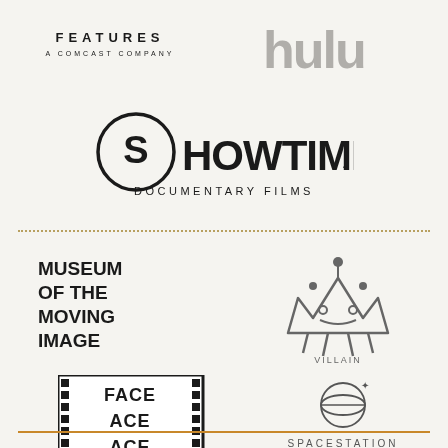[Figure (logo): Focus Features - A Comcast Company logo (top left)]
[Figure (logo): Hulu logo (top right, large grey letters)]
[Figure (logo): Showtime Documentary Films logo (center)]
[Figure (logo): Museum of the Moving Image logo (bottom left section)]
[Figure (logo): Villain (stylized monster crown character) logo (bottom right section)]
[Figure (logo): FACE (film strip style) logo (bottom left)]
[Figure (logo): Spacestation logo (bottom right)]